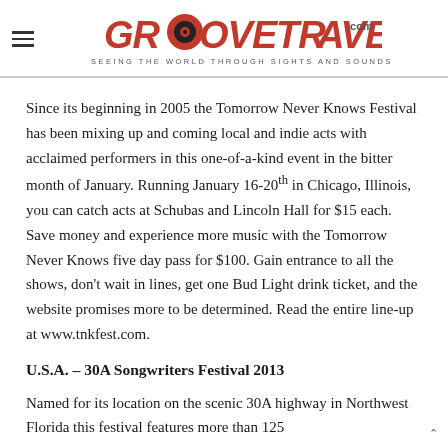GROOVETRAVELER.com — SEEING THE WORLD THROUGH SIGHTS AND SOUNDS
Since its beginning in 2005 the Tomorrow Never Knows Festival has been mixing up and coming local and indie acts with acclaimed performers in this one-of-a-kind event in the bitter month of January. Running January 16-20th in Chicago, Illinois, you can catch acts at Schubas and Lincoln Hall for $15 each. Save money and experience more music with the Tomorrow Never Knows five day pass for $100. Gain entrance to all the shows, don't wait in lines, get one Bud Light drink ticket, and the website promises more to be determined. Read the entire line-up at www.tnkfest.com.
U.S.A. – 30A Songwriters Festival 2013
Named for its location on the scenic 30A highway in Northwest Florida this festival features more than 125